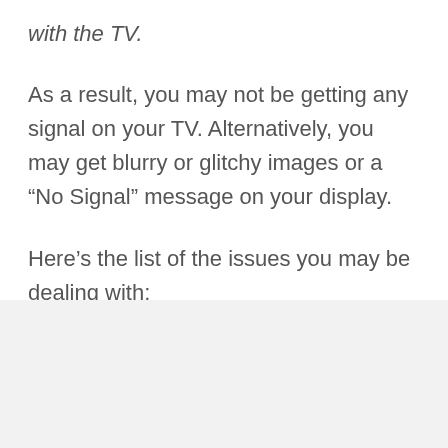with the TV.
As a result, you may not be getting any signal on your TV. Alternatively, you may get blurry or glitchy images or a “No Signal” message on your display.
Here’s the list of the issues you may be dealing with: